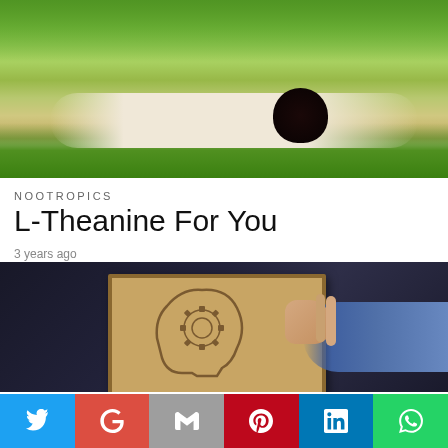[Figure (photo): Person lying on green grass outdoors, viewed from above, with dark curly hair visible, green trees in background]
NOOTROPICS
L-Theanine For You
3 years ago
[Figure (photo): Person in blue shirt holding a framed cardboard drawing of a human head profile with gear/cog brain symbols, dark background]
Twitter | Google+ | Gmail | Pinterest | LinkedIn | WhatsApp social share buttons